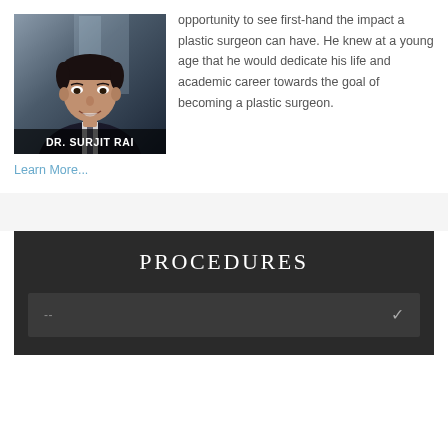[Figure (photo): Portrait photo of Dr. Surjit Rai in a dark suit, with name overlay at bottom]
opportunity to see first-hand the impact a plastic surgeon can have. He knew at a young age that he would dedicate his life and academic career towards the goal of becoming a plastic surgeon. Learn More...
PROCEDURES
--